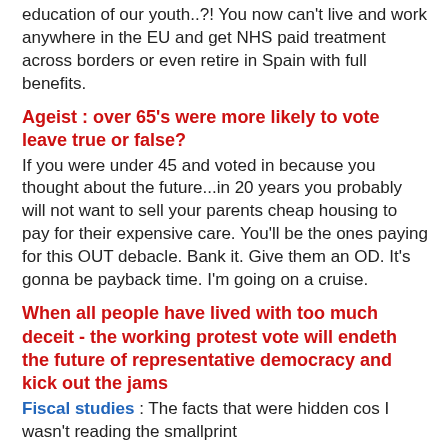education of our youth..?! You now can't live and work anywhere in the EU and get NHS paid treatment across borders or even retire in Spain with full benefits.
Ageist : over 65's were more likely to vote leave true or false?
If you were under 45 and voted in because you thought about the future...in 20 years you probably will not want to sell your parents cheap housing to pay for their expensive care. You'll be the ones paying for this OUT debacle. Bank it. Give them an OD. It's gonna be payback time. I'm going on a cruise.
When all people have lived with too much deceit - the working protest vote will endeth the future of representative democracy and kick out the jams
Fiscal studies : The facts that were hidden cos I wasn't reading the smallprint
Do you think George Osborne's £9billion pound a month borrowing spree stops...instantly. He now uses £350million a week to pay for our deficit. Sod the NHS...it'll go back into an EU budget as part of our use of the single market so said the